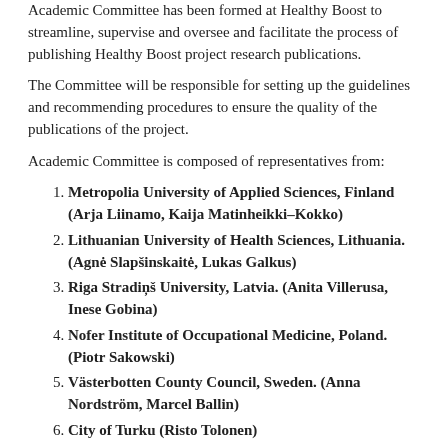Academic Committee has been formed at Healthy Boost to streamline, supervise and oversee and facilitate the process of publishing Healthy Boost project research publications.
The Committee will be responsible for setting up the guidelines and recommending procedures to ensure the quality of the publications of the project.
Academic Committee is composed of representatives from:
Metropolia University of Applied Sciences, Finland (Arja Liinamo, Kaija Matinheikki–Kokko)
Lithuanian University of Health Sciences, Lithuania. (Agnė Slapšinskaitė, Lukas Galkus)
Riga Stradiņš University, Latvia. (Anita Villerusa, Inese Gobina)
Nofer Institute of Occupational Medicine, Poland. (Piotr Sakowski)
Västerbotten County Council, Sweden. (Anna Nordström, Marcel Ballin)
City of Turku (Risto Tolonen)
Committee shall meet on demand. Committee within its